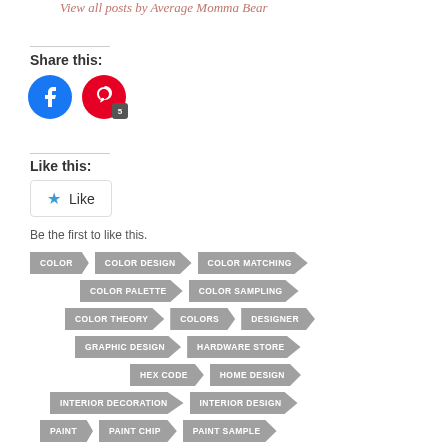View all posts by Average Momma Bear
Share this:
[Figure (infographic): Facebook and Pinterest share buttons. Facebook is a blue circle with F logo. Pinterest is a red circle with P logo and a badge showing 5.]
Like this:
[Figure (infographic): WordPress Like button with a blue star icon and the word Like]
Be the first to like this.
COLOR
COLOR DESIGN
COLOR MATCHING
COLOR PALETTE
COLOR SAMPLING
COLOR THEORY
COLORS
DESIGNER
GRAPHIC DESIGN
HARDWARE STORE
HEX CODE
HOME DESIGN
INTERIOR DECORATION
INTERIOR DESIGN
PAINT
PAINT CHIP
PAINT SAMPLE